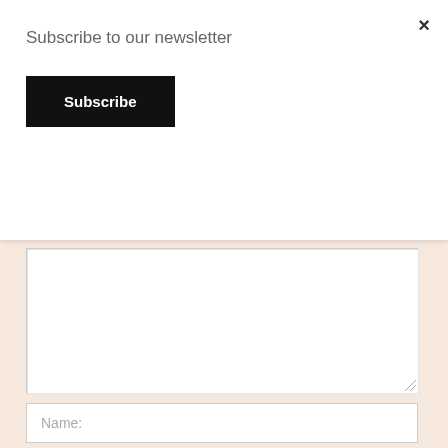Subscribe to our newsletter
Subscribe
Name:
Email:
Website: